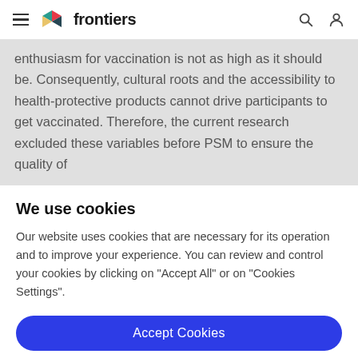frontiers (navigation header with hamburger menu, logo, search and user icons)
enthusiasm for vaccination is not as high as it should be. Consequently, cultural roots and the accessibility to health-protective products cannot drive participants to get vaccinated. Therefore, the current research excluded these variables before PSM to ensure the quality of
We use cookies
Our website uses cookies that are necessary for its operation and to improve your experience. You can review and control your cookies by clicking on "Accept All" or on "Cookies Settings".
Accept Cookies
Cookies Settings